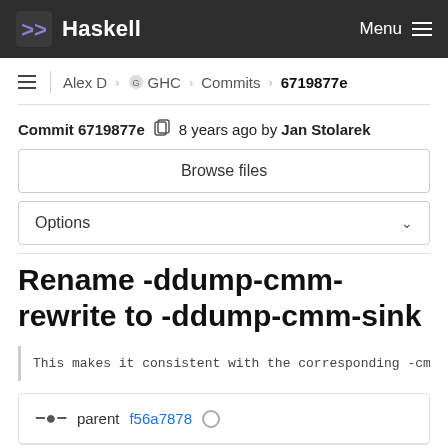Haskell — Menu
Alex D › GHC › Commits › 6719877e
Commit 6719877e  8 years ago by Jan Stolarek
Browse files
Options
Rename -ddump-cmm-rewrite to -ddump-cmm-sink
This makes it consistent with the corresponding -cmm
parent f56a7878